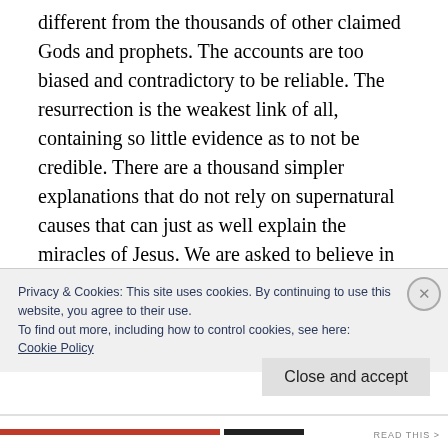different from the thousands of other claimed Gods and prophets. The accounts are too biased and contradictory to be reliable. The resurrection is the weakest link of all, containing so little evidence as to not be credible. There are a thousand simpler explanations that do not rely on supernatural causes that can just as well explain the miracles of Jesus. We are asked to believe in an all-powerful deity who can only provide mediocre evidence. For these reasons, the null
Privacy & Cookies: This site uses cookies. By continuing to use this website, you agree to their use.
To find out more, including how to control cookies, see here:
Cookie Policy
Close and accept